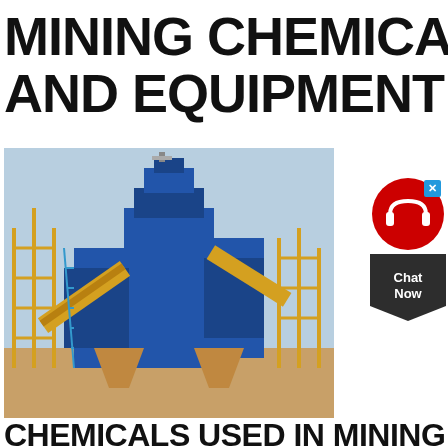MINING CHEMICALS AND EQUIPMENT
[Figure (photo): Industrial mining equipment - large blue metal screening/processing machine with yellow scaffolding and stairs at a mining site]
[Figure (other): Chat Now widget - red circular icon with headphone symbol, dark pentagon shape with Chat Now text]
CHEMICALS USED IN MINING HESPERIAN HEALTH GUIDES
02/11/2020 TOXIC CHEMICALS USED IN MINING INCLUDE: CYANIDE, SULFURIC ACID, AND SOLVENTS FOR